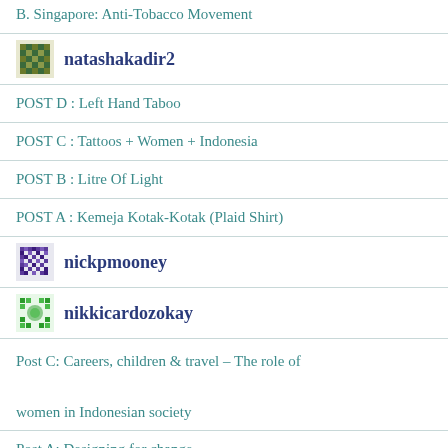B. Singapore: Anti-Tobacco Movement
natashakadir2
POST D : Left Hand Taboo
POST C : Tattoos + Women + Indonesia
POST B : Litre Of Light
POST A : Kemeja Kotak-Kotak (Plaid Shirt)
nickpmooney
nikkicardozokay
Post C: Careers, children & travel – The role of women in Indonesian society
Post A: Designing for change